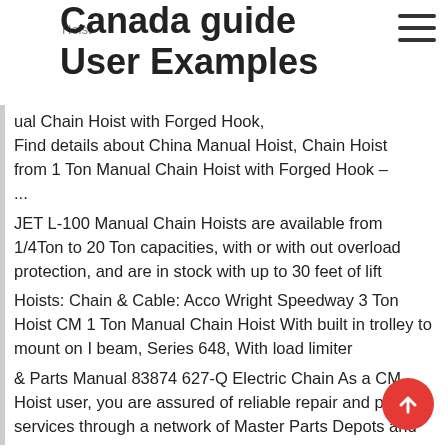Hoist
Canada guide User Examples
Manual Chain Hoist with Forged Hook, Find details about China Manual Hoist, Chain Hoist from 1 Ton Manual Chain Hoist with Forged Hook – ...
JET L-100 Manual Chain Hoists are available from 1/4Ton to 20 Ton capacities, with or with out overload protection, and are in stock with up to 30 feet of lift
Hoists: Chain & Cable: Acco Wright Speedway 3 Ton Hoist CM 1 Ton Manual Chain Hoist With built in trolley to mount on I beam, Series 648, With load limiter
& Parts Manual 83874 627-Q Electric Chain As a CM Hoist user, you are assured of reliable repair and parts services through a network of Master Parts Depots and
Product Details: CM Series 622 Manual Chain Hoist Capacity: 1 ton (2,200 lbs.) Lift – 10 ft. Reeving: 1 Pull Force (lbs.) 77 Hand chain overhauled to lift load